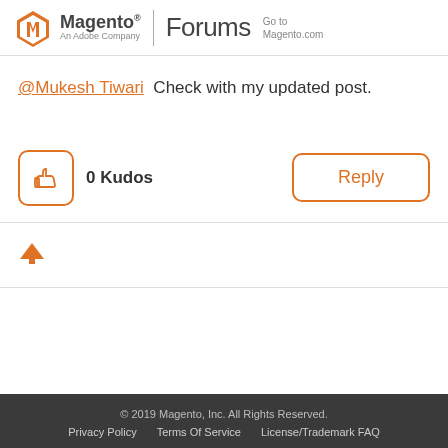Magento An Adobe Company | Forums Go to Magento.com
@Mukesh Tiwari Check with my updated post.
0 Kudos
Reply
[Figure (other): Orange upward arrow icon for back to top]
© 2019 Magento, Inc. All Rights Reserved. Privacy Policy  Terms Of Service  License/Trademark FAQ